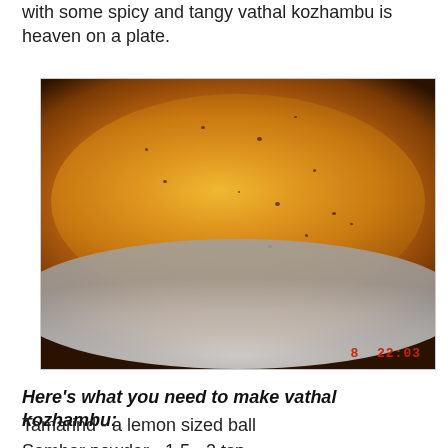with some spicy and tangy vathal kozhambu is heaven on a plate.
[Figure (photo): A white bowl filled with golden-orange vathal kozhambu (tamarind-based curry), photographed close-up showing the glossy liquid surface with small black specks. A red timestamp '8 22:03' is visible in the bottom right corner of the photo.]
Here's what you need to make vathal kozhambu:
Tamarind - a lemon sized ball
Sambar powder - 1.5 - 2 tsp
Turmeric powder - 1/2 tsp
Salt
Gingely/Sesame oil - 2 tsp